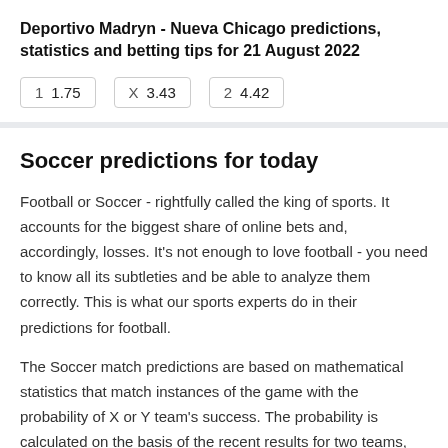Deportivo Madryn - Nueva Chicago predictions, statistics and betting tips for 21 August 2022
| 1 | 1.75 | X | 3.43 | 2 | 4.42 |
Soccer predictions for today
Football or Soccer - rightfully called the king of sports. It accounts for the biggest share of online bets and, accordingly, losses. It's not enough to love football - you need to know all its subtleties and be able to analyze them correctly. This is what our sports experts do in their predictions for football.
The Soccer match predictions are based on mathematical statistics that match instances of the game with the probability of X or Y team's success. The probability is calculated on the basis of the recent results for two teams, injuries, pressure to win, etc. The Match Predictions are evaluated by placing bets on the favourite team (X) and comparing the results with those obtained by placing